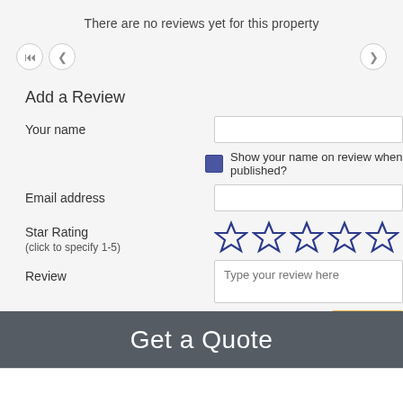There are no reviews yet for this property
[Figure (screenshot): Navigation arrow buttons (rewind and back) on left, forward arrow on right]
Add a Review
Your name
Show your name on review when published?
Email address
Star Rating
(click to specify 1-5)
[Figure (other): 5 empty star rating icons in dark navy blue outline]
Review
Type your review here
Submit
Get a Quote